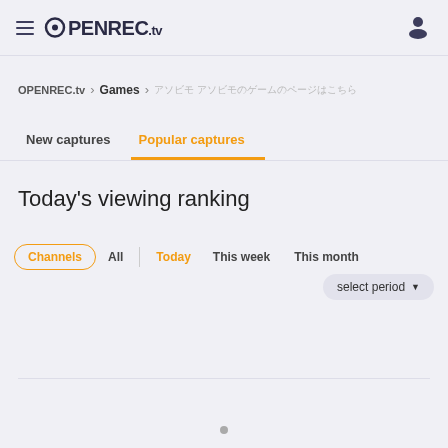≡ OPENREC.tv [user icon]
OPENREC.tv > Games > [Japanese text]
New captures | Popular captures
Today's viewing ranking
Channels  All  |  Today  This week  This month  select period ▼